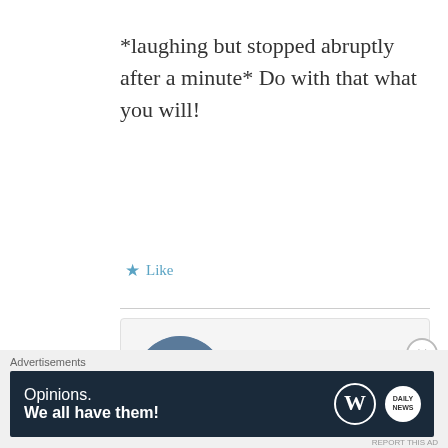*laughing but stopped abruptly after a minute* Do with that what you will!
★ Like
Jae Davis
OCTOBER 10, 2019 AT 11:22 PM
[Figure (photo): Circular profile photo of Jae Davis, a man with a blue-tinted portrait style image]
Laughing for a minute is
Advertisements
[Figure (other): Advertisement banner with dark navy background reading 'Opinions. We all have them!' with WordPress and another logo on the right]